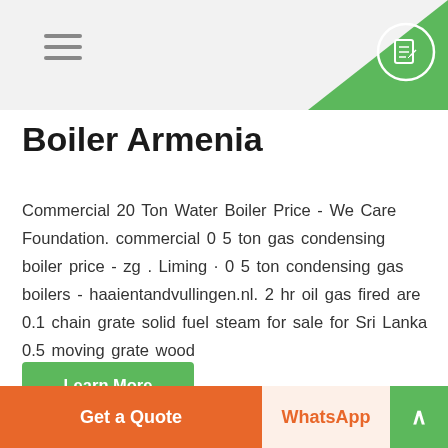Boiler Armenia - navigation header with hamburger menu and document icon
Boiler Armenia
Commercial 20 Ton Water Boiler Price - We Care Foundation. commercial 0 5 ton gas condensing boiler price - zg . Liming · 0 5 ton condensing gas boilers - haaientandvullingen.nl. 2 hr oil gas fired are 0.1 chain grate solid fuel steam for sale for Sri Lanka 0.5 moving grate wood
Learn More
Get a Quote | WhatsApp